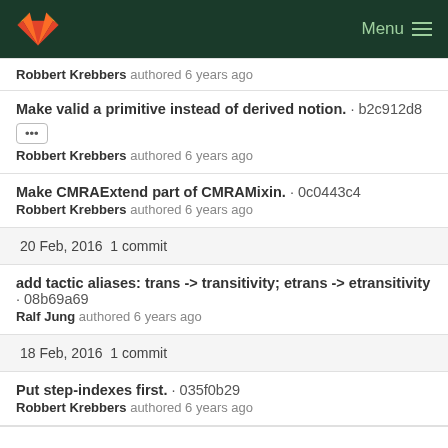GitLab — Menu
Robbert Krebbers authored 6 years ago
Make valid a primitive instead of derived notion. · b2c912d8
Robbert Krebbers authored 6 years ago
Make CMRAExtend part of CMRAMixin. · 0c0443c4
Robbert Krebbers authored 6 years ago
20 Feb, 2016 1 commit
add tactic aliases: trans -> transitivity; etrans -> etransitivity · 08b69a69
Ralf Jung authored 6 years ago
18 Feb, 2016 1 commit
Put step-indexes first. · 035f0b29
Robbert Krebbers authored 6 years ago